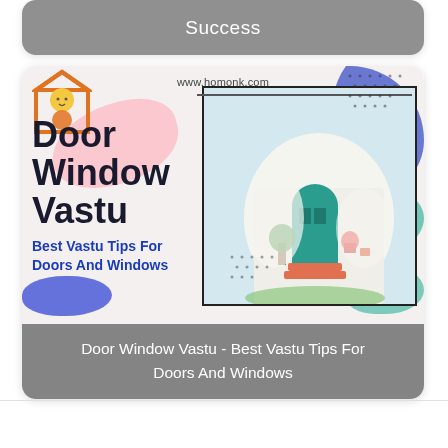Success
[Figure (illustration): Promotional image for Door Window Vastu article from www.homonk.com. Features a monk logo, colorful paint blob decorations, and a photo of a house entrance with a teal arched door. Text reads: Door Window Vastu, Best Vastu Tips For Doors And Windows.]
Door Window Vastu - Best Vastu Tips For Doors And Windows